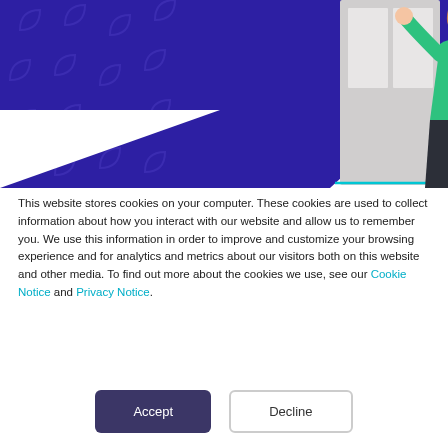[Figure (illustration): Dark purple/indigo background illustration showing a woman in a green top and dark skirt with a badge/lanyard, arms raised, standing in front of a doorway/window. Background has repeating leaf/chat bubble pattern in slightly lighter purple.]
This website stores cookies on your computer. These cookies are used to collect information about how you interact with our website and allow us to remember you. We use this information in order to improve and customize your browsing experience and for analytics and metrics about our visitors both on this website and other media. To find out more about the cookies we use, see our Cookie Notice and Privacy Notice.